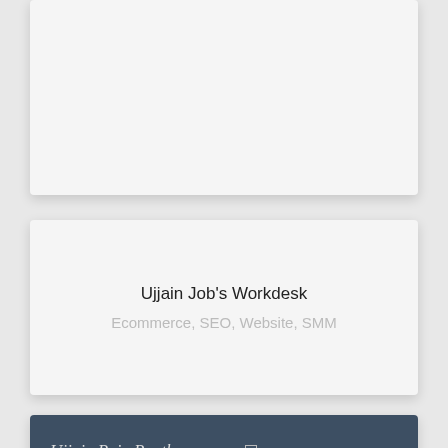[Figure (other): Top card - blank white/light gray card with shadow]
Ujjain Job's Workdesk
Ecommerce, SEO, Website, SMM
[Figure (illustration): Bottom card showing Ujjain Puja Paath branded banner with dark blue header, orange curved section, contact number +019826494903, and a woman's photo with Hindi text 'नमस्कार!']